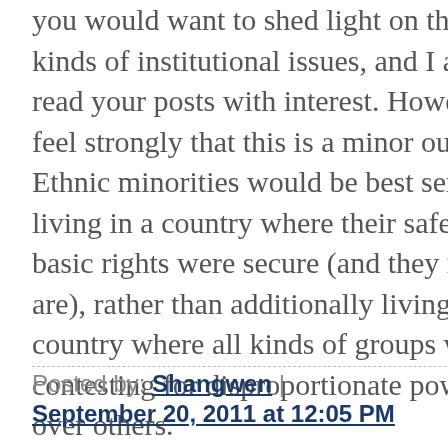you would want to shed light on these kinds of institutional issues, and I always read your posts with interest. However, I feel strongly that this is a minor outcome. Ethnic minorities would be best served by living in a country where their safety and basic rights were secure (and they mostly are), rather than additionally living in a country where all kinds of groups were contesting for disproportionate power over others.
Posted by: Shangwen | September 20, 2011 at 12:05 PM